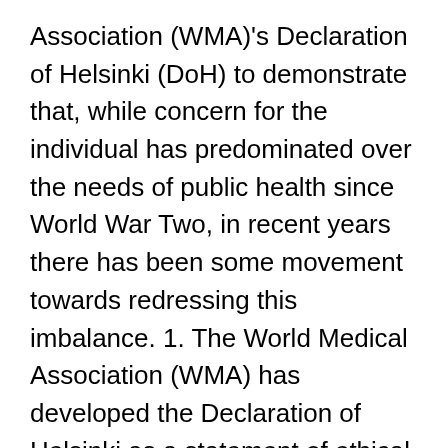Association (WMA)'s Declaration of Helsinki (DoH) to demonstrate that, while concern for the individual has predominated over the needs of public health since World War Two, in recent years there has been some movement towards redressing this imbalance. 1. The World Medical Association (WMA) has developed the Declaration of Helsinki as a statement of ethical principles for medical research involving human subjects, including research on identifiable human material and data.
DECLARATION OF HELSINKI.
Ola salo musikal
Declaration of Helsinki, formal statement of ethical principles published by the World Medical Association (WMA) to guide the protection of